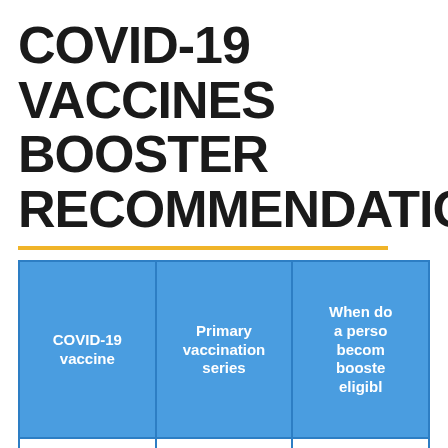COVID-19 VACCINES BOOSTER RECOMMENDATIONS
| COVID-19 vaccine | Primary vaccination series | When does a person become booster eligible? |
| --- | --- | --- |
|  |  |  |